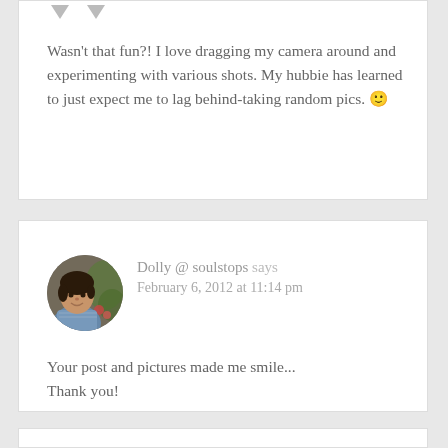Wasn’t that fun?! I love dragging my camera around and experimenting with various shots. My hubbie has learned to just expect me to lag behind‑taking random pics. 🙂
[Figure (photo): Circular avatar photo of Dolly, a woman wearing a blue scarf, outdoors with foliage in background]
Dolly @ soulstops says
February 6, 2012 at 11:14 pm
Your post and pictures made me smile...
Thank you!